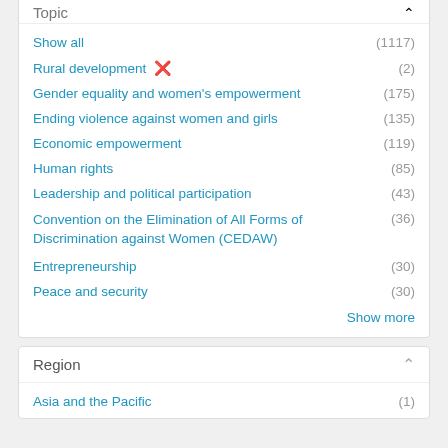Topic
Show all (1117)
Rural development ✕ (2)
Gender equality and women's empowerment (175)
Ending violence against women and girls (135)
Economic empowerment (119)
Human rights (85)
Leadership and political participation (43)
Convention on the Elimination of All Forms of Discrimination against Women (CEDAW) (36)
Entrepreneurship (30)
Peace and security (30)
Show more
Region
Asia and the Pacific (1)